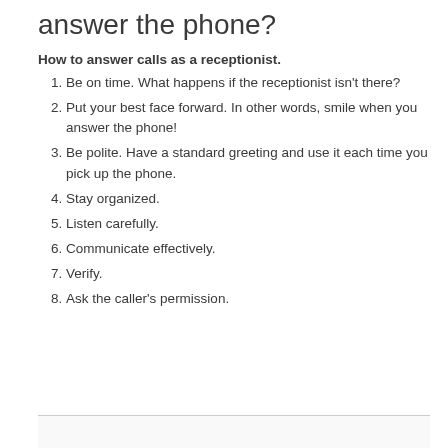answer the phone?
How to answer calls as a receptionist.
Be on time. What happens if the receptionist isn't there?
Put your best face forward. In other words, smile when you answer the phone!
Be polite. Have a standard greeting and use it each time you pick up the phone.
Stay organized.
Listen carefully.
Communicate effectively.
Verify.
Ask the caller's permission.